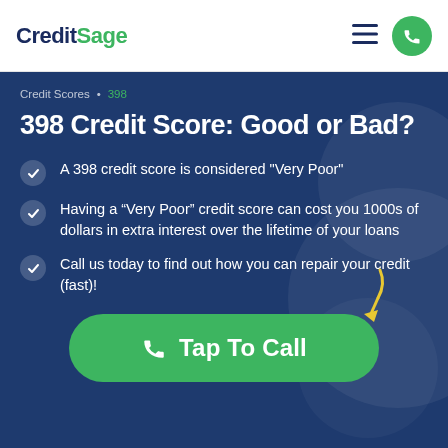CreditSage
Credit Scores • 398
398 Credit Score: Good or Bad?
A 398 credit score is considered "Very Poor"
Having a “Very Poor” credit score can cost you 1000s of dollars in extra interest over the lifetime of your loans
Call us today to find out how you can repair your credit (fast)!
Tap To Call